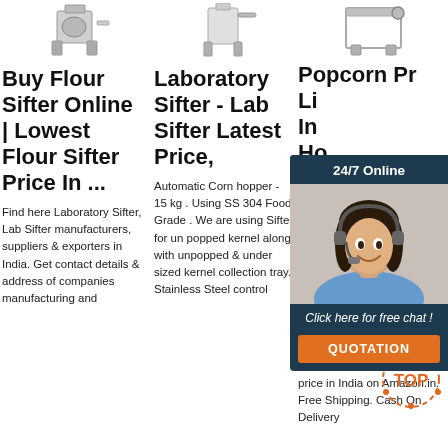[Figure (photo): Product image of a flour sifter machine (top portion visible)]
[Figure (photo): Product image of a laboratory sifter (top portion visible)]
[Figure (photo): Product image of a popcorn machine frame (top portion visible)]
Buy Flour Sifter Online | Lowest Flour Sifter Price In ...
Laboratory Sifter - Lab Sifter Latest Price,
Popcorn Pr... Li... In... Ho... Po...
Find here Laboratory Sifter, Lab Sifter manufacturers, suppliers & exporters in India. Get contact details & address of companies manufacturing and
Automatic Corn hopper - 15 kg . Using SS 304 Food Grade . We are using Sifter for un popped kernel along with unpopped & under sized kernel collection tray. Stainless Steel control
Ama... AMP DECORN CORN CAPS online at low price in India on Amazon.in. Free Shipping. Cash On Delivery
[Figure (photo): 24/7 online chat widget with customer service agent photo, 'Click here for free chat!' CTA and QUOTATION button]